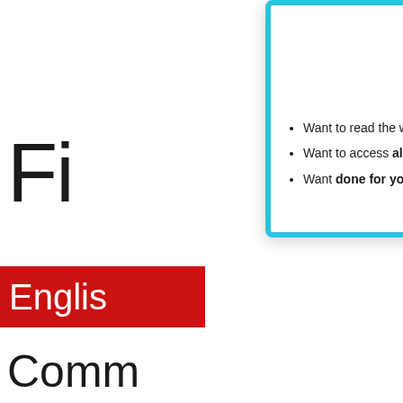[Figure (screenshot): Background page content partially visible: large 'Fi' text, red bar with 'Englis', 'Comm' text, and handwritten sentences about tomato sandwiches at bottom]
[Figure (logo): OT Toolbox Members Club circular logo - yellow circle with cyan/magenta text and decorative elements]
Want to read the website AD-FREE?
Want to access all of our downloads in one place?
Want done for you therapy tools and materials
JOIN THE OT TOOLBOX MEMBER'S CLUB!